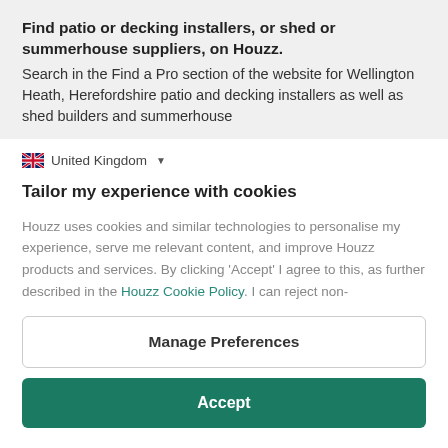Find patio or decking installers, or shed or summerhouse suppliers, on Houzz.
Search in the Find a Pro section of the website for Wellington Heath, Herefordshire patio and decking installers as well as shed builders and summerhouse
United Kingdom
Tailor my experience with cookies
Houzz uses cookies and similar technologies to personalise my experience, serve me relevant content, and improve Houzz products and services. By clicking 'Accept' I agree to this, as further described in the Houzz Cookie Policy. I can reject non-
Manage Preferences
Accept